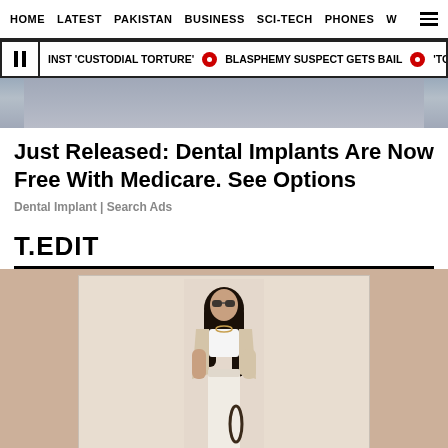HOME  LATEST  PAKISTAN  BUSINESS  SCI-TECH  PHONES  W  ☰
INST 'CUSTODIAL TORTURE'  •  BLASPHEMY SUSPECT GETS BAIL  •  'TO TREAT IN
[Figure (photo): Cropped photo showing a person's torso/waist area wearing denim shorts and a gray top]
Just Released: Dental Implants Are Now Free With Medicare. See Options
Dental Implant | Search Ads
T.EDIT
[Figure (photo): Fashion photo of a young woman with long dark hair wearing sunglasses, a white crop top, beige blazer, and white trousers, posing against a light background]